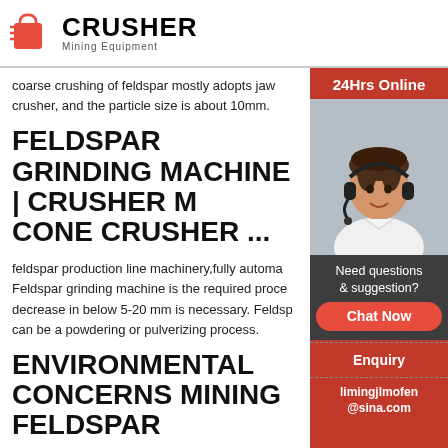CRUSHER Mining Equipment
coarse crushing of feldspar mostly adopts jaw crusher, and the particle size is about 10mm.
FELDSPAR GRINDING MACHINE | CRUSHER M CONE CRUSHER ...
feldspar production line machinery,fully automa Feldspar grinding machine is the required proce decrease in below 5-20 mm is necessary. Feldsp can be a powdering or pulverizing process.
ENVIRONMENTAL CONCERNS MINING FELDSPAR
environmental cons of mining feldspar - Gold Or The environmental impact of mining — Home » Culture &
24Hrs Online
[Figure (photo): Woman with headset smiling, customer service representative]
Need questions & suggestion? Chat Now
Enquiry
limingjlmofen@sina.com